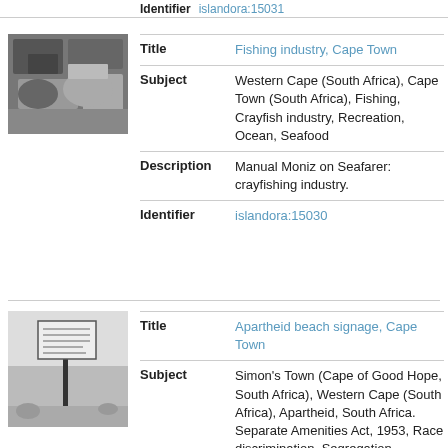islandora:15031
[Figure (photo): Black and white thumbnail photo of fishing industry, Cape Town]
| Field | Value |
| --- | --- |
| Title | Fishing industry, Cape Town |
| Subject | Western Cape (South Africa), Cape Town (South Africa), Fishing, Crayfish industry, Recreation, Ocean, Seafood |
| Description | Manual Moniz on Seafarer: crayfishing industry. |
| Identifier | islandora:15030 |
[Figure (photo): Black and white thumbnail photo of apartheid beach signage, Cape Town]
| Field | Value |
| --- | --- |
| Title | Apartheid beach signage, Cape Town |
| Subject | Simon's Town (Cape of Good Hope, South Africa), Western Cape (South Africa), Apartheid, South Africa. Separate Amenities Act, 1953, Race discrimination, Segregation, Apartheid signage |